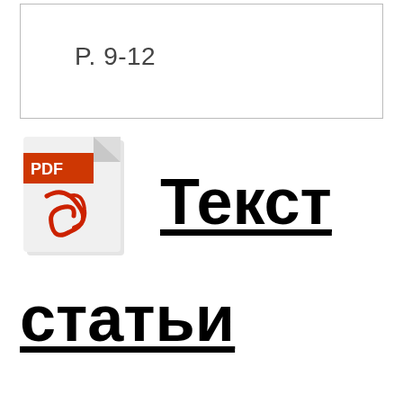P. 9-12
[Figure (illustration): PDF file icon with red Adobe-style logo and folded corner]
Текст
статьи